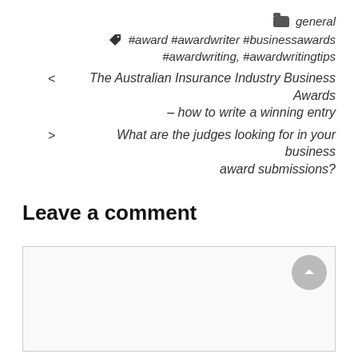general
#award #awardwriter #businessawards #awardwriting, #awardwritingtips
< The Australian Insurance Industry Business Awards – how to write a winning entry
> What are the judges looking for in your business award submissions?
Leave a comment